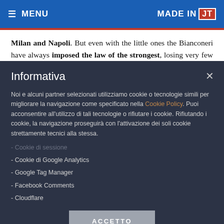≡ MENU   MADE IN JT
Milan and Napoli. But even with the little ones the Bianconeri have always imposed the law of the strongest, losing very few points in the street.
Informativa
Noi e alcuni partner selezionati utilizziamo cookie o tecnologie simili per migliorare la navigazione come specificato nella Cookie Policy. Puoi acconsentire all'utilizzo di tali tecnologie o rifiutare i cookie. Rifiutando i cookie, la navigazione proseguirà con l'attivazione dei soli cookie strettamente tecnici alla stessa.
- Cookie di sessione
- Cookie di Google Analytics
- Google Tag Manager
- Facebook Comments
- Cloudflare